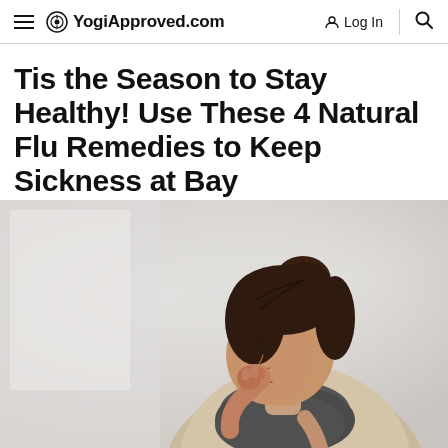YogiApproved.com  Log In
Tis the Season to Stay Healthy! Use These 4 Natural Flu Remedies to Keep Sickness at Bay
[Figure (photo): A young woman with dark hair in a bun, wearing a grey scarf and light jacket, coughing into her fist. The background is a soft blurred light grey/white interior.]